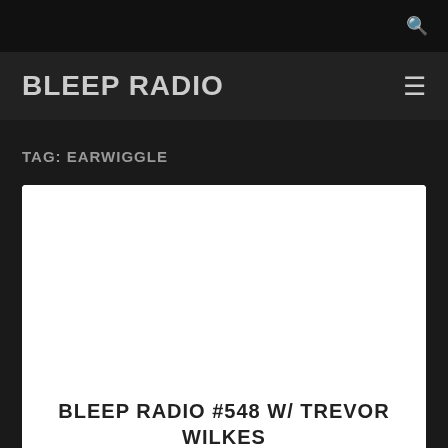🔍
BLEEP RADIO
TAG: EARWIGGLE
[Figure (other): White blank card image area]
BLEEP RADIO #548 W/ TREVOR WILKES